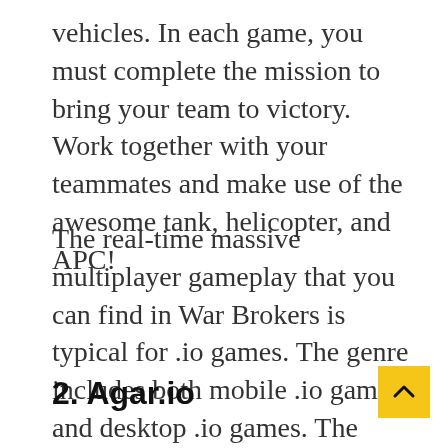vehicles. In each game, you must complete the mission to bring your team to victory. Work together with your teammates and make use of the awesome tank, helicopter, and APC!
The real-time massive multiplayer gameplay that you can find in War Brokers is typical for .io games. The genre includes both mobile .io games and desktop .io games. The game was released in October 2017.
2. Agar.io